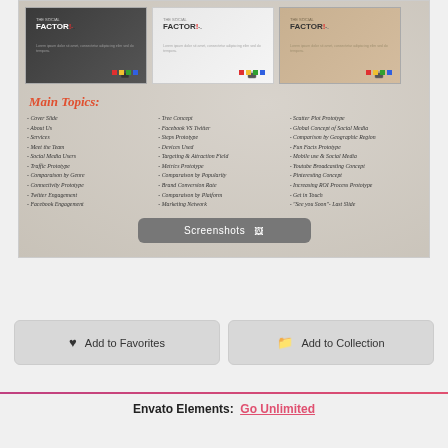[Figure (screenshot): Three thumbnail previews of 'The Social Factor' presentation template: dark, white, and tan versions]
Main Topics:
- Cover Slide
- About Us
- Services
- Meet the Team
- Social Media Users
- Traffic Prototype
- Comparaison by Genre
- Connectivity Prototype
- Twitter Engagement
- Facebook Engagement
- Tree Concept
- Facebook VS Twitter
- Steps Prototype
- Devices Used
- Targeting & Attraction Field
- Metrics Prototype
- Comparaison by Popularity
- Brand Conversion Rate
- Comparaison by Platform
- Marketing Network
- Scatter Plot Prototype
- Global Concept of Social Media
- Comparison by Geographic Region
- Fun Facts Prototype
- Mobile use & Social Media
- Youtube Broadcasting Concept
- Pinteresting Concept
- Increasing ROI Process Prototype
- Get in Touch
- "See you Soon"- Last Slide
Screenshots
Add to Favorites
Add to Collection
Envato Elements:  Go Unlimited